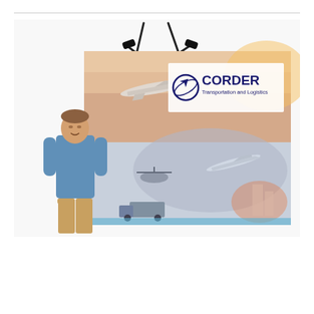[Figure (photo): A large fabric popup trade show display banner with a transportation and logistics graphic. The banner shows an airplane in the upper half with a sunset sky, and the CORDER Transportation and Logistics logo. The lower half shows a world map collage with vehicles including trucks, helicopters, and airplanes. Two spotlights are mounted on top. A man in a blue shirt and khaki pants stands to the left of the display for scale.]
Price
Additional Details
Get Started